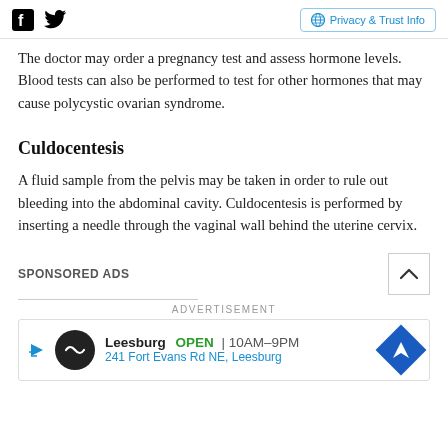Privacy & Trust Info
The doctor may order a pregnancy test and assess hormone levels. Blood tests can also be performed to test for other hormones that may cause polycystic ovarian syndrome.
Culdocentesis
A fluid sample from the pelvis may be taken in order to rule out bleeding into the abdominal cavity. Culdocentesis is performed by inserting a needle through the vaginal wall behind the uterine cervix.
SPONSORED ADS
ADVERTISEMENT
[Figure (screenshot): Advertisement banner for Leesburg showing OPEN 10AM-9PM at 241 Fort Evans Rd NE, Leesburg with a navigation icon]